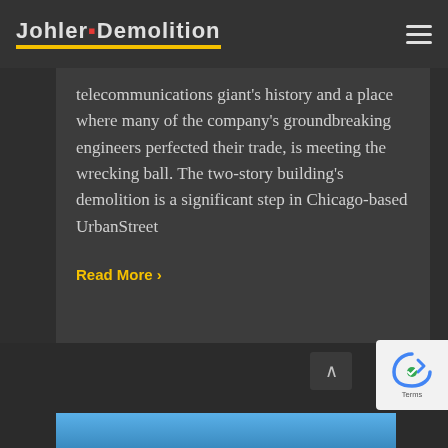Johler Demolition
telecommunications giant's history and a place where many of the company's groundbreaking engineers perfected their trade, is meeting the wrecking ball. The two-story building's demolition is a significant step in Chicago-based UrbanStreet
Read More >